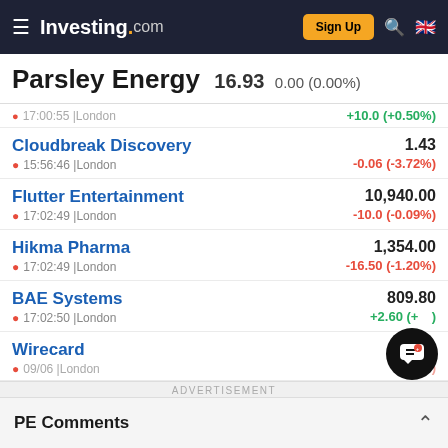Investing.com — Sign Up
Parsley Energy 16.93 0.00 (0.00%)
17:00:55 | London +10.0 (+0.50%)
Cloudbreak Discovery 1.43 | 15:56:46 | London | -0.06 (-3.72%)
Flutter Entertainment 10,940.00 | 17:02:49 | London | -10.0 (-0.09%)
Hikma Pharma 1,354.00 | 17:02:49 | London | -16.50 (-1.20%)
BAE Systems 809.80 | 17:02:50 | London | +2.60 (+0.32%)
Wirecard | 09/06 | London
ADVERTISEMENT
PE Comments